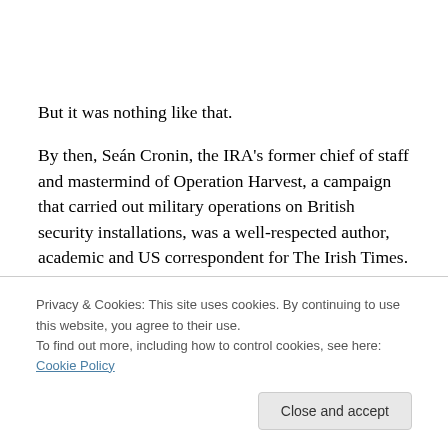But it was nothing like that.
By then, Seán Cronin, the IRA's former chief of staff and mastermind of Operation Harvest, a campaign that carried out military operations on British security installations, was a well-respected author, academic and US correspondent for The Irish Times. In contrast, I was a humble humanities student at the Ulster Polytechnic, now the University of
Privacy & Cookies: This site uses cookies. By continuing to use this website, you agree to their use.
To find out more, including how to control cookies, see here: Cookie Policy